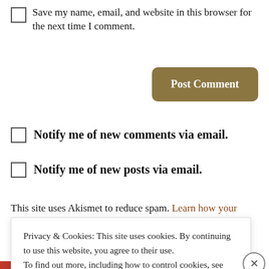Save my name, email, and website in this browser for the next time I comment.
[Figure (screenshot): Post Comment button, brown/tan color with rounded corners]
Notify me of new comments via email.
Notify me of new posts via email.
This site uses Akismet to reduce spam. Learn how your
Privacy & Cookies: This site uses cookies. By continuing to use this website, you agree to their use.
To find out more, including how to control cookies, see here:
Cookie Policy
[Figure (screenshot): Close and accept button, brown/tan color with rounded corners]